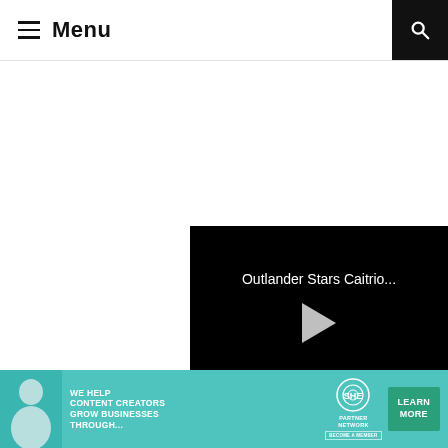Menu
[Figure (screenshot): Video player panel with black background showing title 'Outlander Stars Caitrio...' with a play button triangle in center]
X
[Figure (infographic): Advertisement banner for SHE Partner Network: 'We help content creators grow businesses through...' with Learn More button]